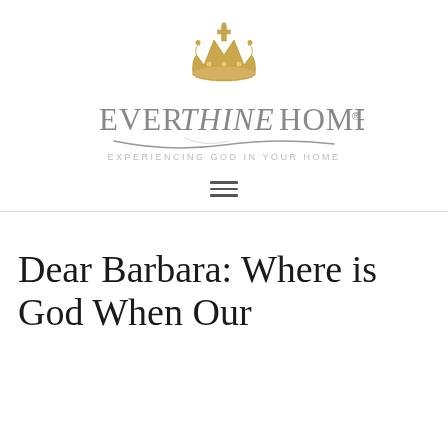[Figure (logo): Ever Thine Home logo with golden crown and cross at top, stylized text 'EVER THINE HOME' in grey with ornate lettering, and tagline 'EXPERIENCING GOD IN YOUR HOME' in spaced grey capitals below]
≡
Dear Barbara: Where is God When Our